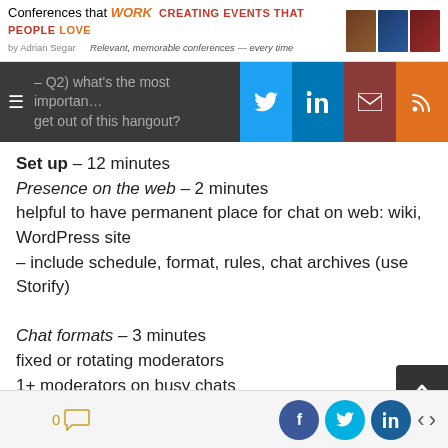Conferences that WORK CREATING EVENTS THAT PEOPLE LOVE by Adrian Segar — Relevant, memorable conferences — every time
– Q2) what's the most important thing you want to get out of this hangout?
Set up – 12 minutes
Presence on the web – 2 minutes
helpful to have permanent place for chat on web: wiki, WordPress site
– include schedule, format, rules, chat archives (use Storify)

Chat formats – 3 minutes
fixed or rotating moderators
1+ moderators on busy chats
topic based
guest(s)
pre-announced questions
moderator asks pre-determined questions
0 comments | Share on Facebook, Twitter, LinkedIn